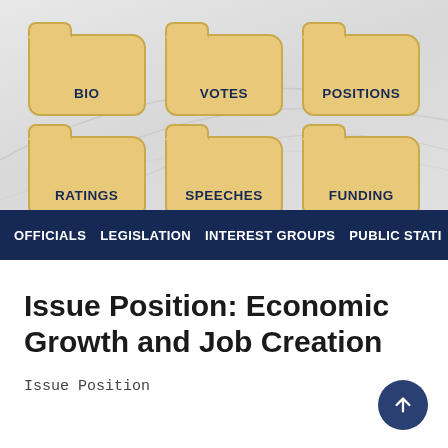[Figure (screenshot): Website navigation showing folder-style icons for BIO, VOTES, POSITIONS, RATINGS, SPEECHES, FUNDING categories on a grey background with decorative curves]
OFFICIALS   LEGISLATION   INTEREST GROUPS   PUBLIC STATI...
Issue Position: Economic Growth and Job Creation
Issue Position